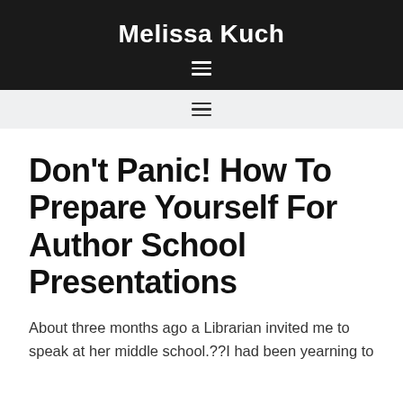Melissa Kuch
[Figure (other): Hamburger menu icon (white lines on dark background)]
[Figure (other): Hamburger menu icon (dark lines on light gray background)]
Don't Panic! How To Prepare Yourself For Author School Presentations
About three months ago a Librarian invited me to speak at her middle school.??I had been yearning to